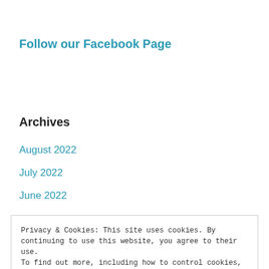Follow our Facebook Page
Archives
August 2022
July 2022
June 2022
Privacy & Cookies: This site uses cookies. By continuing to use this website, you agree to their use.
To find out more, including how to control cookies, see here: Cookie Policy
Close and accept